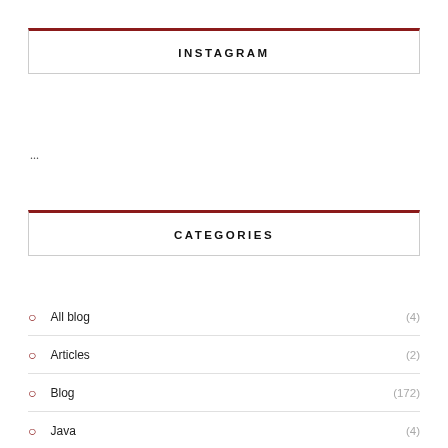INSTAGRAM
...
CATEGORIES
All blog (4)
Articles (2)
Blog (172)
Java (4)